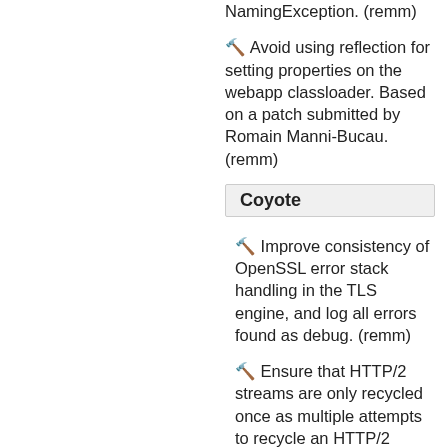🔧 Avoid using reflection for setting properties on the webapp classloader. Based on a patch submitted by Romain Manni-Bucau. (remm)
Coyote
🔧 Improve consistency of OpenSSL error stack handling in the TLS engine, and log all errors found as debug. (remm)
🔧 Ensure that HTTP/2 streams are only recycled once as multiple attempts to recycle an HTTP/2 stream may result in NullPointerExceptions. (markt)